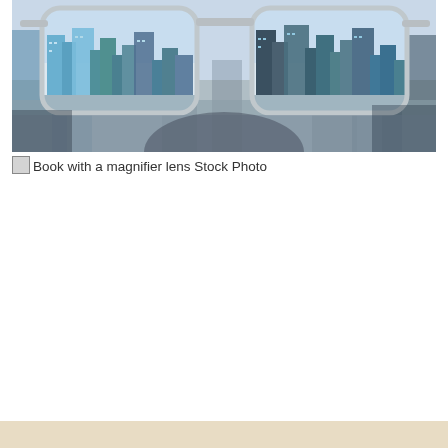[Figure (photo): Close-up photo of eyeglasses with a blurry cityscape visible in the background; the city skyline with tall buildings appears sharp and in focus through the two lenses of the glasses, while the surrounding areas are blurred.]
Book with a magnifier lens Stock Photo